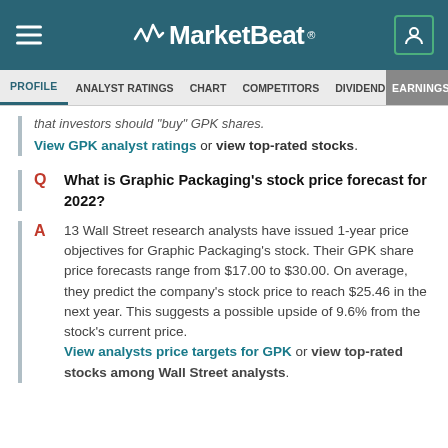MarketBeat
PROFILE  ANALYST RATINGS  CHART  COMPETITORS  DIVIDEND  EARNINGS
that investors should "buy" GPK shares. View GPK analyst ratings or view top-rated stocks.
What is Graphic Packaging's stock price forecast for 2022?
13 Wall Street research analysts have issued 1-year price objectives for Graphic Packaging's stock. Their GPK share price forecasts range from $17.00 to $30.00. On average, they predict the company's stock price to reach $25.46 in the next year. This suggests a possible upside of 9.6% from the stock's current price. View analysts price targets for GPK or view top-rated stocks among Wall Street analysts.